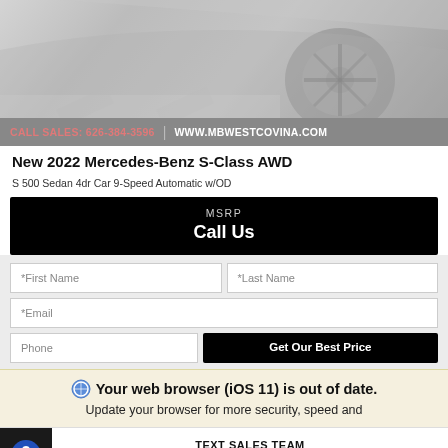[Figure (photo): Partial view of a silver Mercedes-Benz car wheel and body panel in a dealership or studio setting]
CALL SALES: 626-384-3596 | WWW.MBWESTCOVINA.COM
New 2022 Mercedes-Benz S-Class AWD
S 500 Sedan 4dr Car 9-Speed Automatic w/OD
MSRP
Call Us
*First Name
*Last Name
*Email
Phone
Get Our Best Price
Your web browser (iOS 11) is out of date.
Update your browser for more security, speed and
TEXT SALES TEAM
(626) 542-1240